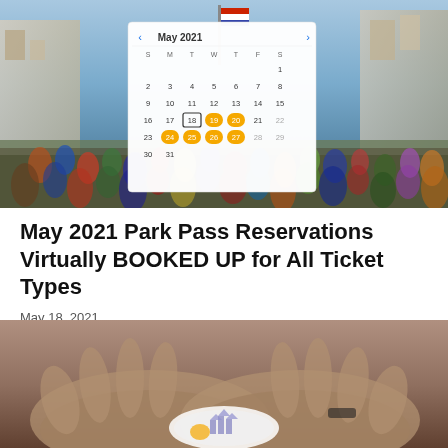[Figure (photo): Aerial view of a crowded Disney park main street with a May 2021 calendar overlay showing dates 24-27 highlighted in yellow/orange and date 18 boxed]
May 2021 Park Pass Reservations Virtually BOOKED UP for All Ticket Types
May 18, 2021
[Figure (photo): Close-up of hands holding Disney park tickets or passes]